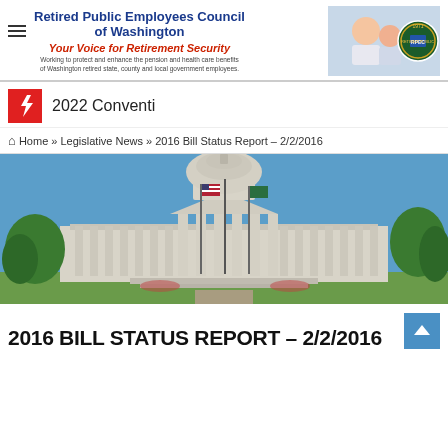Retired Public Employees Council of Washington — Your Voice for Retirement Security — Working to protect and enhance the pension and health care benefits of Washington retired state, county and local government employees.
2022 Conventi
🏠 Home » Legislative News » 2016 Bill Status Report – 2/2/2016
[Figure (photo): Photograph of the Washington State Capitol building with flags in front against a clear blue sky]
2016 BILL STATUS REPORT – 2/2/2016